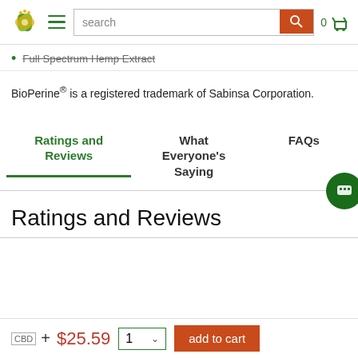Navigation bar with logo, hamburger menu, search bar, and cart
Full Spectrum Hemp Extract
BioPerine® is a registered trademark of Sabinsa Corporation.
Ratings and Reviews | What Everyone's Saying | FAQs
Ratings and Reviews
CBD  +  $25.59  1  add to cart